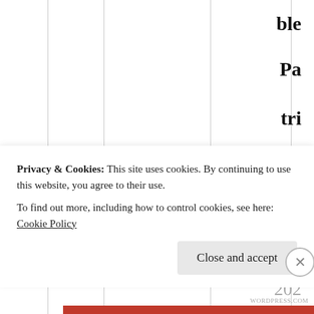ble Pa tri ot 09/ 02/ 2021 @ 20: 56 at 20:
Privacy & Cookies: This site uses cookies. By continuing to use this website, you agree to their use.
To find out more, including how to control cookies, see here: Cookie Policy
Close and accept